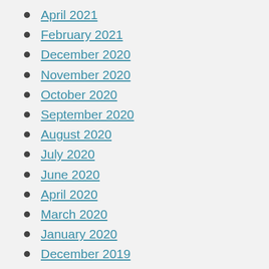April 2021
February 2021
December 2020
November 2020
October 2020
September 2020
August 2020
July 2020
June 2020
April 2020
March 2020
January 2020
December 2019
November 2019